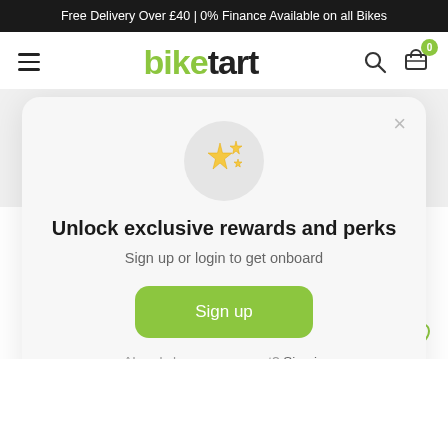Free Delivery Over £40 | 0% Finance Available on all Bikes
[Figure (logo): Biketart logo with hamburger menu, search icon, and cart icon with badge 0]
[Figure (photo): Close-up of a bicycle showing wheels with brown tires, frame, and disc brake]
[Figure (infographic): Modal popup with sparkles icon, title 'Unlock exclusive rewards and perks', subtitle 'Sign up or login to get onboard', green Sign up button, and sign in link]